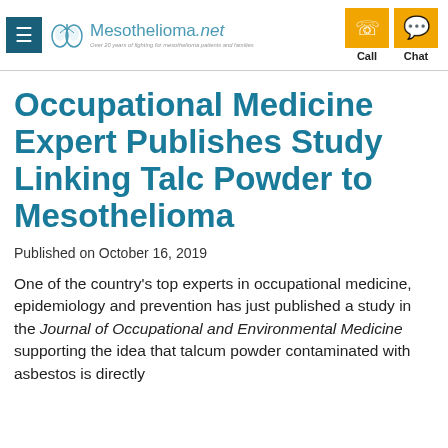Mesothelioma.net — Call | Chat
Occupational Medicine Expert Publishes Study Linking Talc Powder to Mesothelioma
Published on October 16, 2019
One of the country's top experts in occupational medicine, epidemiology and prevention has just published a study in the Journal of Occupational and Environmental Medicine supporting the idea that talcum powder contaminated with asbestos is directly